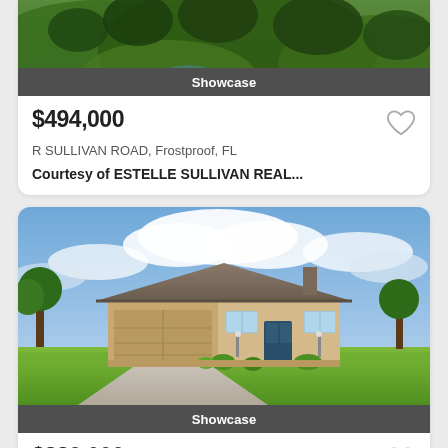[Figure (photo): Aerial/landscape photo of green hills with trees, partially cropped at top. Shows 'Showcase' label bar at bottom of image.]
$494,000
R SULLIVAN ROAD, Frostproof, FL
Courtesy of ESTELLE SULLIVAN REAL...
[Figure (photo): Photo of a single-story beige/tan house with two-car garage, long driveway, green lawn, cloudy blue sky. Shows 'Showcase' label bar at bottom of image.]
$389,000
4 bd, 3 full ba, 2,396 sqft
33 DEER ROAD, Frostproof, FL